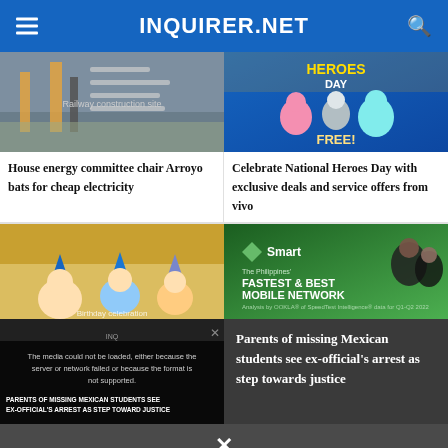INQUIRER.NET
[Figure (photo): Construction workers on a railway track, one in orange safety vest]
House energy committee chair Arroyo bats for cheap electricity
[Figure (photo): National Heroes Day promotional banner with cartoon characters from vivo, text: HEROES DAY FREE!]
Celebrate National Heroes Day with exclusive deals and service offers from vivo
[Figure (photo): People at a birthday party with blue party hats]
[Figure (photo): Smart - The Philippines' Fastest & Best Mobile Network advertisement with women on green background]
[Figure (screenshot): Video player with error: The media could not be loaded, either because the server or network failed or because the format is not supported. Lower text: PARENTS OF MISSING MEXICAN STUDENTS SEE EX-OFFICIAL'S ARREST AS STEP TOWARD JUSTICE]
Parents of missing Mexican students see ex-official's arrest as step towards justice